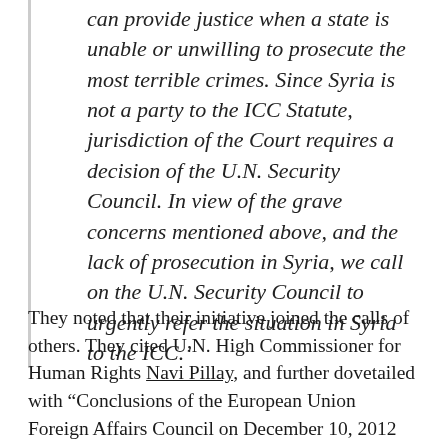can provide justice when a state is unable or unwilling to prosecute the most terrible crimes. Since Syria is not a party to the ICC Statute, jurisdiction of the Court requires a decision of the U.N. Security Council. In view of the grave concerns mentioned above, and the lack of prosecution in Syria, we call on the U.N. Security Council to urgently refer the situation in Syria to the ICC.'
They noted that their initiative joined the calls of others. They cited U.N. High Commissioner for Human Rights Navi Pillay, and further dovetailed with "Conclusions of the European Union Foreign Affairs Council on December 10, 2012 and the Swiss initiative at